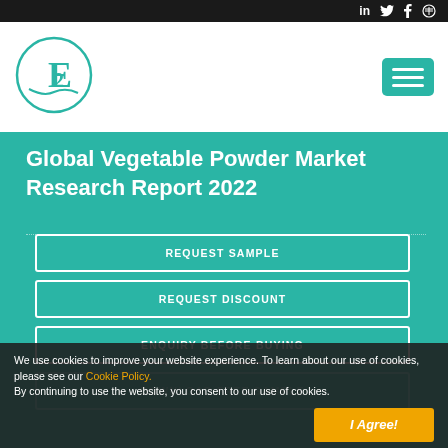Social media icons: LinkedIn, Twitter, Facebook, RSS
[Figure (logo): Circular logo with letter E/2 in teal color, with wave design, inside a teal circle outline]
Global Vegetable Powder Market Research Report 2022
REQUEST SAMPLE
REQUEST DISCOUNT
ENQUIRY BEFORE BUYING
We use cookies to improve your website experience. To learn about our use of cookies, please see our Cookie Policy. By continuing to use the website, you consent to our use of cookies.
I Agree!